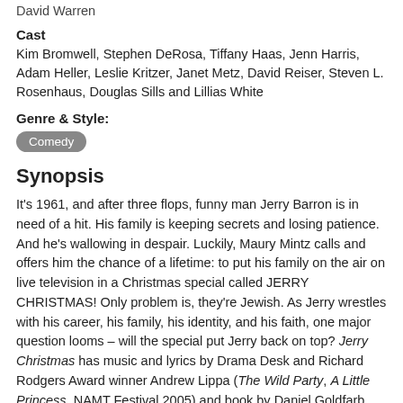David Warren
Cast
Kim Bromwell, Stephen DeRosa, Tiffany Haas, Jenn Harris, Adam Heller, Leslie Kritzer, Janet Metz, David Reiser, Steven L. Rosenhaus, Douglas Sills and Lillias White
Genre & Style:
Comedy
Synopsis
It's 1961, and after three flops, funny man Jerry Barron is in need of a hit. His family is keeping secrets and losing patience. And he's wallowing in despair. Luckily, Maury Mintz calls and offers him the chance of a lifetime: to put his family on the air on live television in a Christmas special called JERRY CHRISTMAS! Only problem is, they're Jewish. As Jerry wrestles with his career, his family, his identity, and his faith, one major question looms – will the special put Jerry back on top? Jerry Christmas has music and lyrics by Drama Desk and Richard Rodgers Award winner Andrew Lippa (The Wild Party, A Little Princess, NAMT Festival 2005) and book by Daniel Goldfarb (Modern Orthodox, Martin Short: Fame Becomes Me, Party Come Here, NAMT Festival 2005).